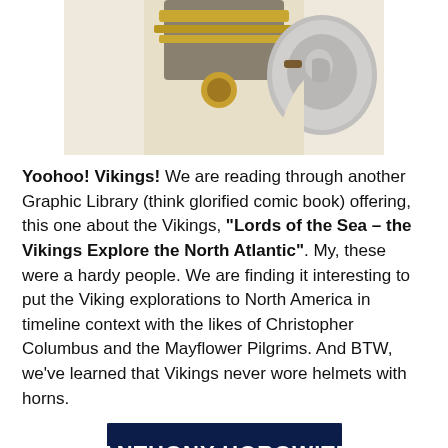[Figure (photo): Cropped photo showing a person in Viking/Roman costume holding a decorative shield, from the torso down, on a white background.]
Yoohoo!  Vikings!  We are reading through another Graphic Library (think glorified comic book) offering, this one about the Vikings, "Lords of the Sea – the Vikings Explore the North Atlantic".  My, these were a hardy people.  We are finding it interesting to put the Viking explorations to North America in timeline context with the likes of Christopher Columbus and the Mayflower Pilgrims.  And BTW, we've learned that Vikings never wore helmets with horns.
[Figure (photo): Partial photo of a book cover showing 'ANTHONY HOROWITZ' in large white text on a dark blue/black background, with smaller subtitle text below the author name.]